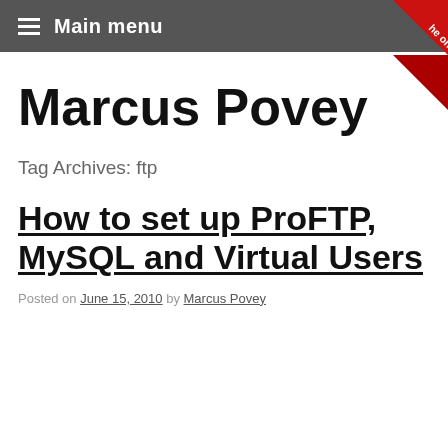Main menu
Marcus Povey
Tag Archives: ftp
How to set up ProFTP, MySQL and Virtual Users
Posted on June 15, 2010 by Marcus Povey